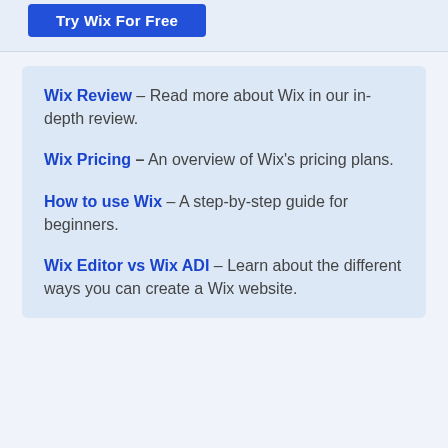[Figure (other): Blue 'Try Wix For Free' button on light blue banner background]
Wix Review – Read more about Wix in our in-depth review.
Wix Pricing – An overview of Wix's pricing plans.
How to use Wix – A step-by-step guide for beginners.
Wix Editor vs Wix ADI – Learn about the different ways you can create a Wix website.